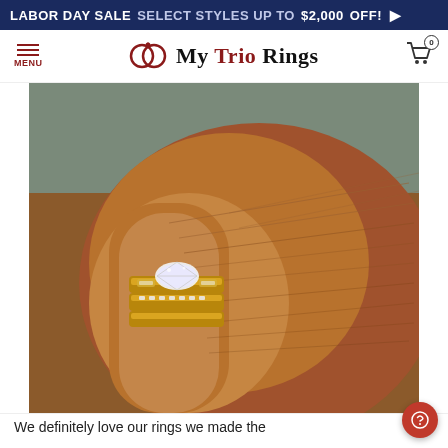LABOR DAY SALE SELECT STYLES UP TO $2,000 OFF! ▶
[Figure (logo): My Trio Rings website logo with interlocked rings icon and stylized text]
[Figure (photo): Close-up photo of a hand wearing a gold diamond trio ring set on the ring finger. The rings feature a marquise diamond center stone with channel-set diamond bands in yellow gold.]
We definitely love our rings we made the